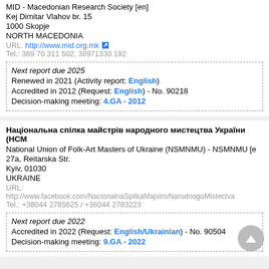MID - Macedonian Research Society [en]
Kej Dimitar Vlahov br. 15
1000 Skopje
NORTH MACEDONIA
URL: http://www.mid.org.mk
Tel.: 389 70 311 502; 38971330 192
Next report due 2025
Renewed in 2021 (Activity report: English)
Accredited in 2012 (Request: English) - No. 90218
Decision-making meeting: 4.GA - 2012
Національна спілка майстрів народного мистецтва України (НСМ...
National Union of Folk-Art Masters of Ukraine (NSMNMU) - NSMNMU [e...
27a, Reitarska Str.
Kyiv, 01030
UKRAINE
URL:
http://www.facebook.com/NacionalnaSpilkaMajstrivNarodnogoMistectva...
Tel.: +38044 2785625 / +38044 2783223
Next report due 2022
Accredited in 2022 (Request: English/Ukrainian) - No. 90504
Decision-making meeting: 9.GA - 2022